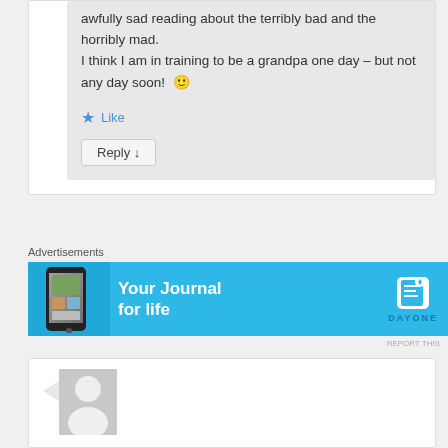awfully sad reading about the terribly bad and the horribly mad.
I think I am in training to be a grandpa one day – but not any day soon! 🙂
Like
Reply ↓
Advertisements
[Figure (screenshot): Advertisement banner for Day One journal app with light blue background showing a phone mockup and text 'Your Journal for life' with DAY ONE logo]
REPORT THIS
[Figure (other): Comment section with user avatar placeholder (gray silhouette on gray background)]